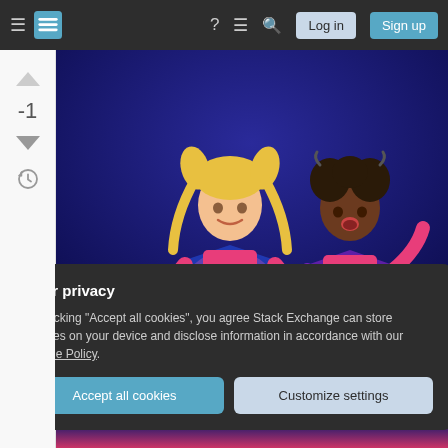[Figure (screenshot): Stack Exchange website navigation bar with hamburger menu, logo, help, chat, search icons, and Log in / Sign up buttons on dark background]
[Figure (photo): Two young girls in futuristic pink and blue/purple superhero costumes posed against a dark blue background. The girl on the left has blonde pigtails and stands with hands on hips; the girl on the right has dark hair in puffs and holds one hand up with a surprised expression.]
Your privacy
By clicking "Accept all cookies", you agree Stack Exchange can store cookies on your device and disclose information in accordance with our Cookie Policy.
Accept all cookies
Customize settings